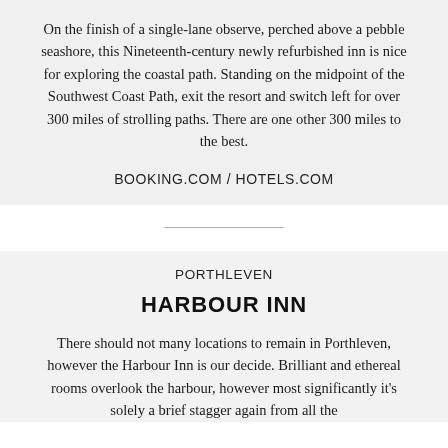On the finish of a single-lane observe, perched above a pebble seashore, this Nineteenth-century newly refurbished inn is nice for exploring the coastal path. Standing on the midpoint of the Southwest Coast Path, exit the resort and switch left for over 300 miles of strolling paths. There are one other 300 miles to the best.
BOOKING.COM / HOTELS.COM
PORTHLEVEN
HARBOUR INN
There should not many locations to remain in Porthleven, however the Harbour Inn is our decide. Brilliant and ethereal rooms overlook the harbour, however most significantly it's solely a brief stagger again from all the